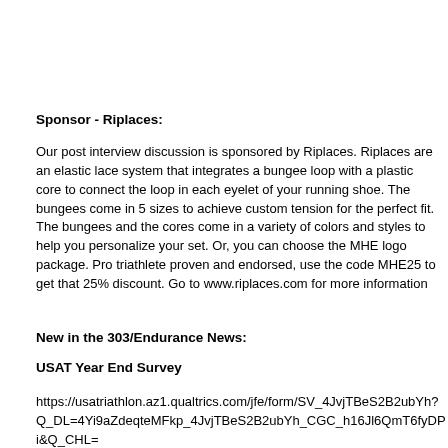Sponsor - Riplaces:
Our post interview discussion is sponsored by Riplaces. Riplaces are an elastic lace system that integrates a bungee loop with a plastic core to connect the loop in each eyelet of your running shoe. The bungees come in 5 sizes to achieve custom tension for the perfect fit. The bungees and the cores come in a variety of colors and styles to help you personalize your set. Or, you can choose the MHE logo package. Pro triathlete proven and endorsed, use the code MHE25 to get that 25% discount. Go to www.riplaces.com for more information
New in the 303/Endurance News:
USAT Year End Survey
https://usatriathlon.az1.qualtrics.com/jfe/form/SV_4JvjTBeS2B2ubYh?Q_DL=4Yi9aZdeqteMFkp_4JvjTBeS2B2ubYh_CGC_h16Jl6QmT6fyDPi&Q_CHL=